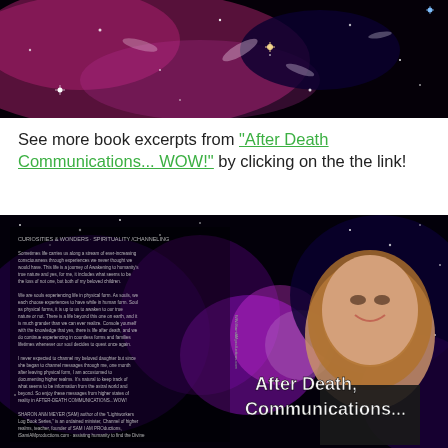[Figure (photo): Space/nebula image with stars and colorful cosmic clouds, panoramic banner at top]
See more book excerpts from "After Death Communications... WOW!" by clicking on the the link!
[Figure (photo): Book cover for 'After Death Communications...' showing a smiling woman on a cosmic background with text excerpts visible on the left side]